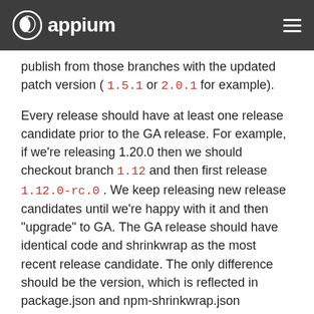appium
publish from those branches with the updated patch version ( 1.5.1 or 2.0.1 for example).
Every release should have at least one release candidate prior to the GA release. For example, if we're releasing 1.20.0 then we should checkout branch 1.12 and then first release 1.12.0-rc.0 . We keep releasing new release candidates until we're happy with it and then "upgrade" to GA. The GA release should have identical code and shrinkwrap as the most recent release candidate. The only difference should be the version, which is reflected in package.json and npm-shrinkwrap.json
A note about npm shrinkwrap : We use npm shrinkwrap ...